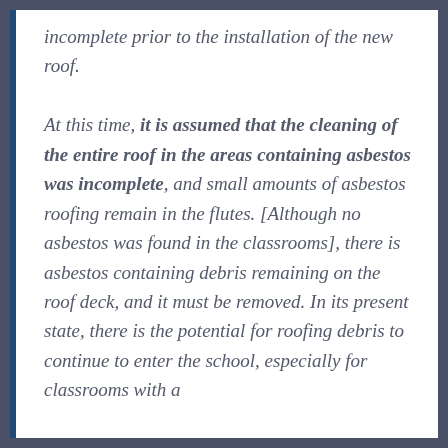incomplete prior to the installation of the new roof. At this time, it is assumed that the cleaning of the entire roof in the areas containing asbestos was incomplete, and small amounts of asbestos roofing remain in the flutes. [Although no asbestos was found in the classrooms], there is asbestos containing debris remaining on the roof deck, and it must be removed. In its present state, there is the potential for roofing debris to continue to enter the school, especially for classrooms with a